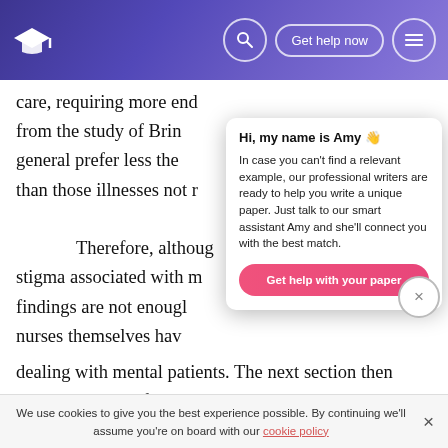Navigation bar with logo, search, Get help now, and menu buttons
care, requiring more end from the study of Brin general prefer less the than those illnesses not r
[Figure (infographic): Chat assistant popup: Hi, my name is Amy. In case you can't find a relevant example, our professional writers are ready to help you write a unique paper. Just talk to our smart assistant Amy and she'll connect you with the best match. Button: Get help with your paper]
Therefore, althoug stigma associated with m findings are not enough nurses themselves have dealing with mental patients. The next section then discusses some of the suggested strategies that can be applied to nursing field in order to minimise and overcome
We use cookies to give you the best experience possible. By continuing we'll assume you're on board with our cookie policy